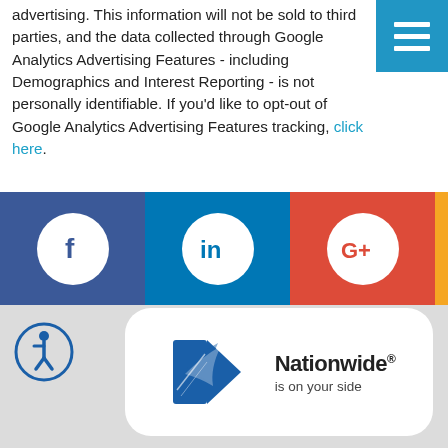advertising. This information will not be sold to third parties, and the data collected through Google Analytics Advertising Features - including Demographics and Interest Reporting - is not personally identifiable. If you'd like to opt-out of Google Analytics Advertising Features tracking, click here.
[Figure (infographic): Social media icons bar: Facebook (blue background), LinkedIn (blue background), Google+ (red background), orange strip on right]
[Figure (logo): Nationwide Insurance logo — eagle/N emblem with 'Nationwide is on your side' text, in white rounded rectangle on grey background. Accessibility icon (wheelchair person in circle) on left.]